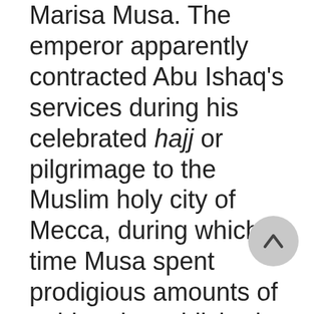Marisa Musa. The emperor apparently contracted Abu Ishaq's services during his celebrated hajj or pilgrimage to the Muslim holy city of Mecca, during which time Musa spent prodigious amounts of gold and established himself as the first sub-Saharan African ruler widely known throughout the Western world. Abu Ishaq returned with Musa to Mali in around 1325, and there was ordered to build the largest mosque in the region. Five centuries later, British traveler Henry Barth wrote